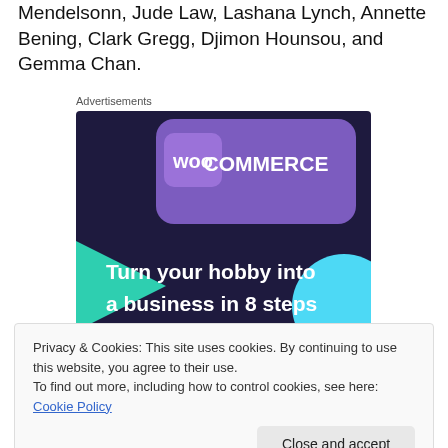Mendelsonn, Jude Law, Lashana Lynch, Annette Bening, Clark Gregg, Djimon Hounsou, and Gemma Chan.
[Figure (other): WooCommerce advertisement banner with dark purple background, green triangle shape, light blue circle, WooCommerce logo in white, and text 'Turn your hobby into a business in 8 steps'.]
Advertisements
Privacy & Cookies: This site uses cookies. By continuing to use this website, you agree to their use.
To find out more, including how to control cookies, see here: Cookie Policy
stop an invasion by the shapeshifting Skrulls, led by